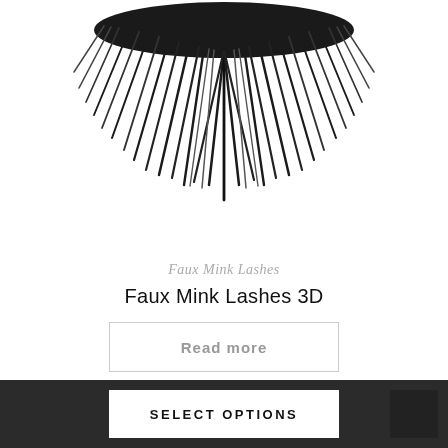[Figure (photo): Faux mink false eyelashes shown from below against white background, black fluffy lash fibers fanning outward]
Faux Mink Lashes
Faux Mink Lashes 3D
Read more
SELECT OPTIONS